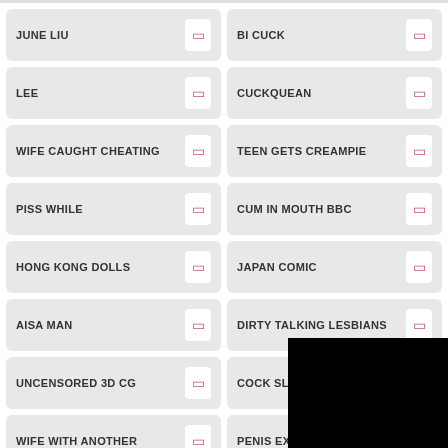JUNE LIU
BI CUCK
LEE
CUCKQUEAN
WIFE CAUGHT CHEATING
TEEN GETS CREAMPIE
PISS WHILE
CUM IN MOUTH BBC
HONG KONG DOLLS
JAPAN COMIC
AISA MAN
DIRTY TALKING LESBIANS
UNCENSORED 3D CG
COCK SLEEVE
WIFE WITH ANOTHER
PENIS EXTENS